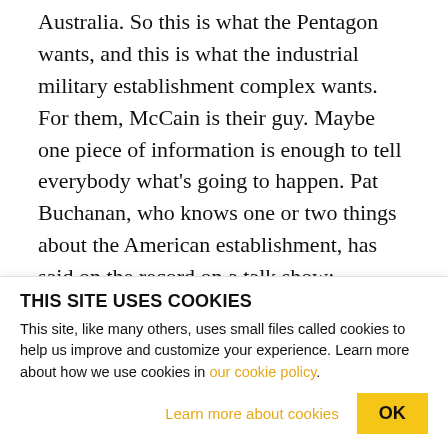Australia. So this is what the Pentagon wants, and this is what the industrial military establishment complex wants. For them, McCain is their guy. Maybe one piece of information is enough to tell everybody what's going to happen. Pat Buchanan, who knows one or two things about the American establishment, has said on the record on a talk show:
(CLIP BEGINS)
PAT BUCHANAN: If McCain wins, McCain wins, he
THIS SITE USES COOKIES
This site, like many others, uses small files called cookies to help us improve and customize your experience. Learn more about how we use cookies in our cookie policy.
Learn more about cookies
OK